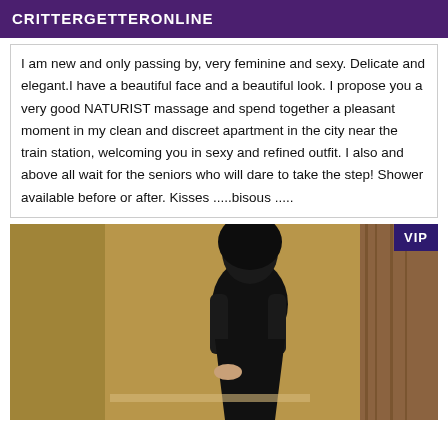CRITTERGETTERONLINE
I am new and only passing by, very feminine and sexy. Delicate and elegant.I have a beautiful face and a beautiful look. I propose you a very good NATURIST massage and spend together a pleasant moment in my clean and discreet apartment in the city near the train station, welcoming you in sexy and refined outfit. I also and above all wait for the seniors who will dare to take the step! Shower available before or after. Kisses .....bisous .....
[Figure (photo): A person dressed in black standing/leaning near a gold/tan wall, with a wooden panel visible on the right. VIP badge in top-right corner.]